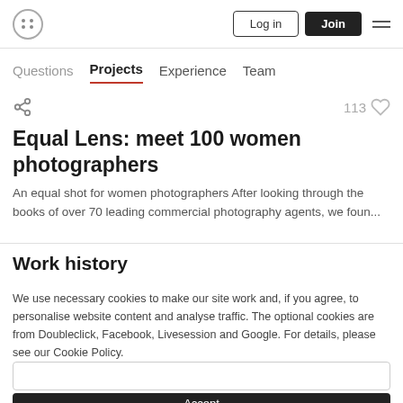Logo | Log in | Join | Menu
Questions  Projects  Experience  Team
113 ♡
Equal Lens: meet 100 women photographers
An equal shot for women photographers After looking through the books of over 70 leading commercial photography agents, we foun...
Work history
We use necessary cookies to make our site work and, if you agree, to personalise website content and analyse traffic. The optional cookies are from Doubleclick, Facebook, Livesession and Google. For details, please see our Cookie Policy.
Accept